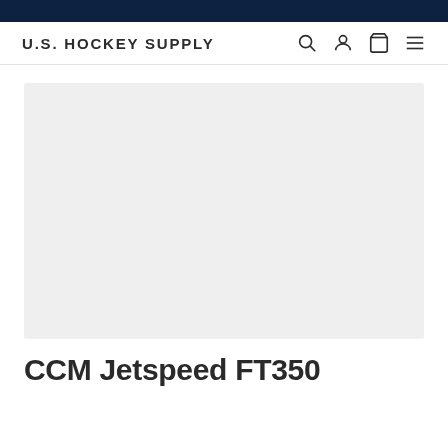U.S. HOCKEY SUPPLY
[Figure (photo): Product image placeholder area with light gray background]
CCM Jetspeed FT350